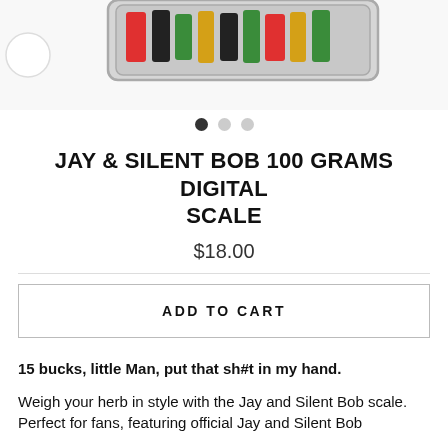[Figure (photo): Product photo of Jay & Silent Bob 100 Grams Digital Scale — a metal tray scale with colorful items inside, partially visible at top of page]
• • •  (carousel dots, first dot filled)
JAY & SILENT BOB 100 GRAMS DIGITAL SCALE
$18.00
ADD TO CART
15 bucks, little Man, put that sh#t in my hand.
Weigh your herb in style with the Jay and Silent Bob scale. Perfect for fans, featuring official Jay and Silent Bob